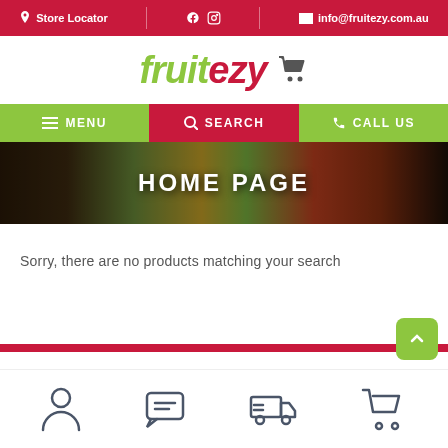Store Locator | Facebook | Instagram | info@fruitezy.com.au
fruitezy
MENU | SEARCH | CALL US
[Figure (photo): Hero banner showing a basket of fresh fruits including pineapple, melon, and other produce with text HOME PAGE overlay]
Sorry, there are no products matching your search
[Figure (infographic): Bottom navigation bar icons: person/account, chat/message, delivery truck, shopping cart, and a green back-to-top button]